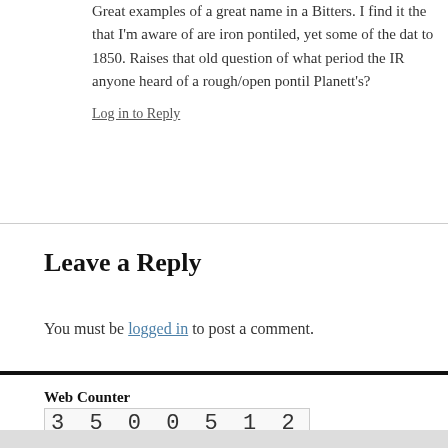Great examples of a great name in a Bitters. I find it the that I'm aware of are iron pontiled, yet some of the dat to 1850. Raises that old question of what period the IR anyone heard of a rough/open pontil Planett's?
Log in to Reply
Leave a Reply
You must be logged in to post a comment.
Web Counter
3 5 0 0 5 1 2
Peachridge Glass